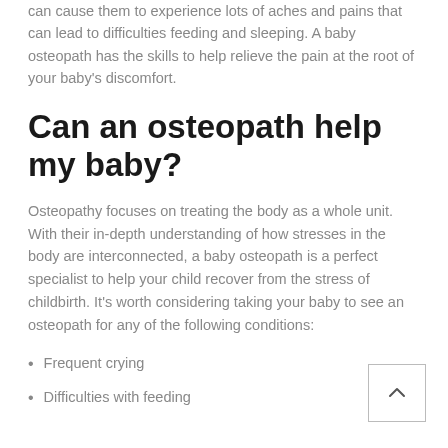can cause them to experience lots of aches and pains that can lead to difficulties feeding and sleeping. A baby osteopath has the skills to help relieve the pain at the root of your baby's discomfort.
Can an osteopath help my baby?
Osteopathy focuses on treating the body as a whole unit. With their in-depth understanding of how stresses in the body are interconnected, a baby osteopath is a perfect specialist to help your child recover from the stress of childbirth. It's worth considering taking your baby to see an osteopath for any of the following conditions:
Frequent crying
Difficulties with feeding